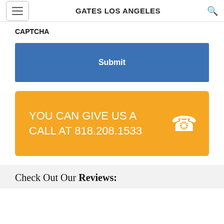GATES LOS ANGELES
CAPTCHA
Submit
YOU CAN GIVE US A CALL AT 818.208.1533
Check Out Our Reviews: